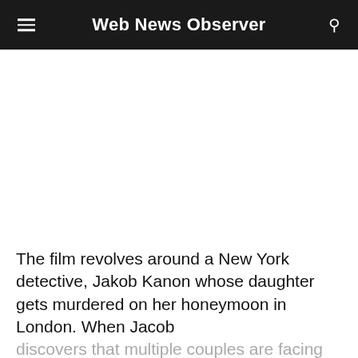Web News Observer
The film revolves around a New York detective, Jakob Kanon whose daughter gets murdered on her honeymoon in London. When Jacob discovers that multiple couples are facing the same fate throughout Europe, he starts his own